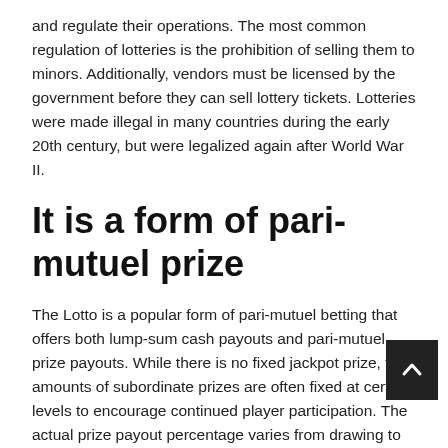and regulate their operations. The most common regulation of lotteries is the prohibition of selling them to minors. Additionally, vendors must be licensed by the government before they can sell lottery tickets. Lotteries were made illegal in many countries during the early 20th century, but were legalized again after World War II.
It is a form of pari-mutuel prize
The Lotto is a popular form of pari-mutuel betting that offers both lump-sum cash payouts and pari-mutuel prize payouts. While there is no fixed jackpot prize, the amounts of subordinate prizes are often fixed at certain levels to encourage continued player participation. The actual prize payout percentage varies from drawing to drawing and approaches a statistical target level over time. The payout percentage is based on the number of ticket